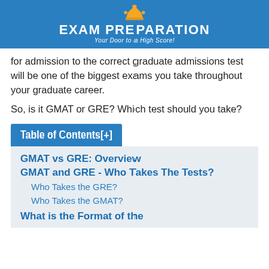EXAM PREPARATION
Your Door to a High Score!
for admission to the correct graduate admissions test will be one of the biggest exams you take throughout your graduate career.
So, is it GMAT or GRE? Which test should you take?
Table of Contents[+]
GMAT vs GRE: Overview
GMAT and GRE - Who Takes The Tests?
Who Takes the GRE?
Who Takes the GMAT?
What is the Format of the